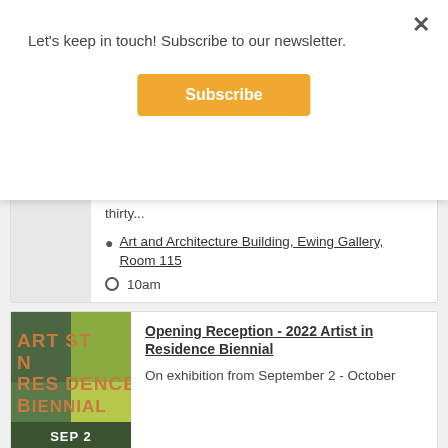Let's keep in touch! Subscribe to our newsletter.
Subscribe
thirty...
Art and Architecture Building, Ewing Gallery, Room 115
10am
[Figure (illustration): Artist in Residence Biennial promotional graphic with green and yellow squares, orange text reading ARTIST IN RESIDENCE BIENNIAL, and SEP 2 badge at bottom]
Opening Reception - 2022 Artist in Residence Biennial
On exhibition from September 2 - October